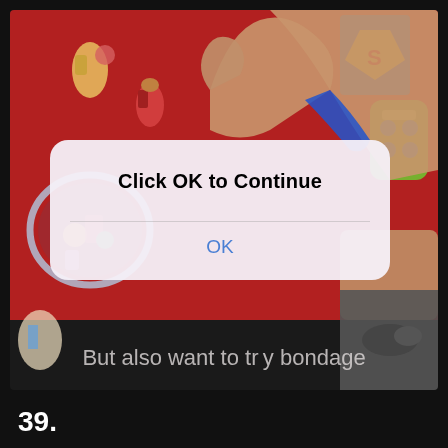[Figure (photo): Photo of a person's hand reaching over a red mat covered with children's toys (action figures, small electronic toy). A modal dialog box overlaid on the photo reads 'Click OK to Continue' with an OK button. At the bottom of the photo is subtitle text 'But also want to try bondage'.]
39.